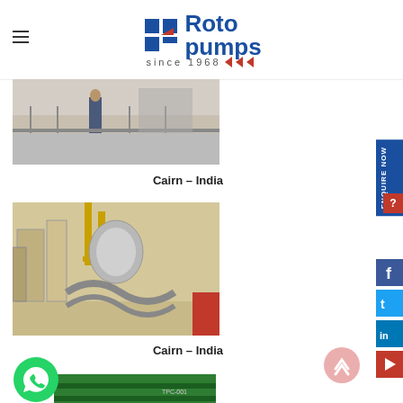Roto Pumps since 1968
[Figure (photo): Industrial facility with workers, railing and equipment - Cairn India installation (partially cropped top)]
Cairn – India
[Figure (photo): Industrial pump and piping installation at Cairn India site - outdoor facility with tanks and pipes]
Cairn – India
[Figure (photo): Green painted pump/equipment - partially visible at bottom of page]